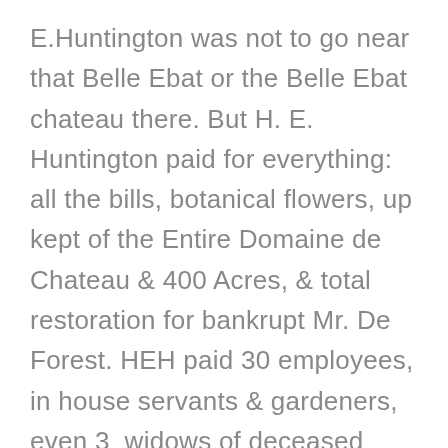E.Huntington was not to go near that Belle Ebat or the Belle Ebat chateau there. But H. E. Huntington paid for everything: all the bills, botanical flowers, up kept of the Entire Domaine de Chateau & 400 Acres, & total restoration for bankrupt Mr. De Forest. HEH paid 30 employees, in house servants & gardeners, even 3  widows of deceased employees, also Huntington traveling servants (butlers (2), gentleman's valet, HEH's business secy, ADH's personal ladies maid, ADH's social secretary, cook. The Chateau de Beauregard was close to Versailles Palace & the Sevres